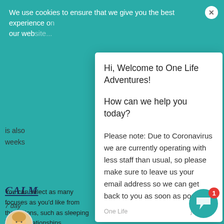We use cookies to ensure that we give you the best experience on our website...
[Figure (screenshot): Chat popup widget from One Life Adventures website showing welcome message and coronavirus notice]
Hi, Welcome to One Life Adventures!
How can we help you today?
Please note: Due to Coronavirus we are currently operating with less staff than usual, so please make sure to leave us your email address so we can get back to you as soon as possible!
One Life   just now
is also
weeks
[Figure (logo): CALM logo partially visible]
7 day
'm
You can select as many focuses as you'd like from the options, such as sleeping better, relationships, managing stress. When inside the app, along hundreds of guided meditations, you can also track your